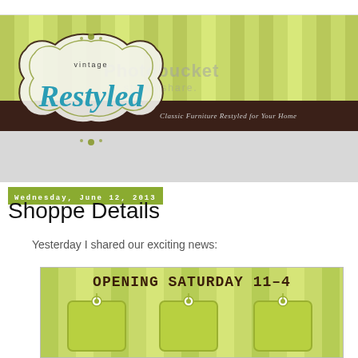[Figure (logo): Vintage Restyled blog banner with green striped background, ornate frame, teal script logo text reading 'vintage Restyled', dark brown bar with subtitle 'Classic Furniture Restyled for Your Home', and Photobucket watermark]
Wednesday, June 12, 2013
Shoppe Details
Yesterday I shared our exciting news:
[Figure (infographic): Green striped background image with text 'OPENING SATURDAY 11-4' in bold dark brown font, with hanging price tag illustrations below]